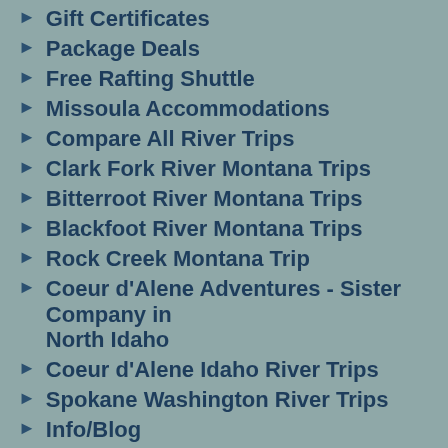Gift Certificates
Package Deals
Free Rafting Shuttle
Missoula Accommodations
Compare All River Trips
Clark Fork River Montana Trips
Bitterroot River Montana Trips
Blackfoot River Montana Trips
Rock Creek Montana Trip
Coeur d'Alene Adventures - Sister Company in North Idaho
Coeur d'Alene Idaho River Trips
Spokane Washington River Trips
Info/Blog
About Us
Our Farm
Adventure Missoula Gear